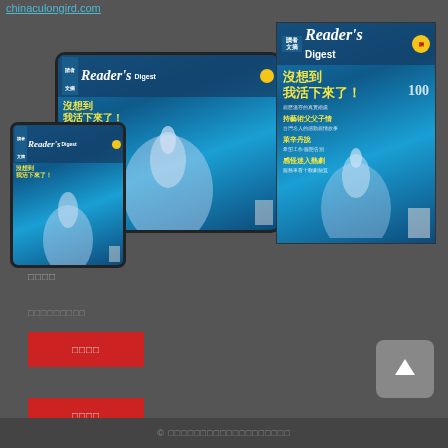chinaculongird.com
[Figure (photo): Reader's Digest magazine covers shown on tablet and phone devices, and a standalone large magazine cover. The cover features a whale image with Chinese text '沒想到我活下來了！' (I never expected to survive!) on a blue ocean background.]
□□□□
□□□□
□□□□□□□□□
□□□□
□□□□
© □□□□□□□□□□□□□□□□□□□